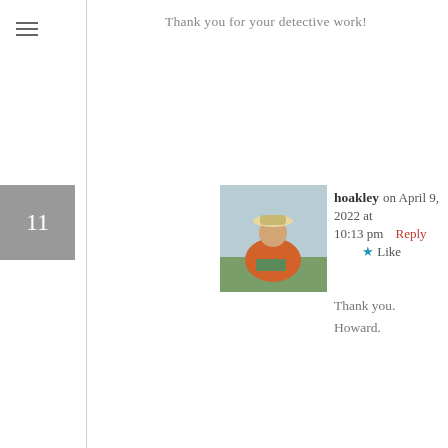Thank you for your detective work!
11
hoakley on April 9, 2022 at 10:13 pm   Reply   ★ Like
Thank you.
Howard.
Leave a Reply
Your email address will not be published. Required fields are marked *
Comment *